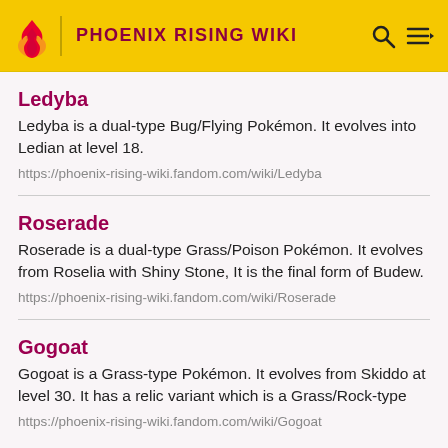PHOENIX RISING WIKI
Ledyba
Ledyba is a dual-type Bug/Flying Pokémon. It evolves into Ledian at level 18.
https://phoenix-rising-wiki.fandom.com/wiki/Ledyba
Roserade
Roserade is a dual-type Grass/Poison Pokémon. It evolves from Roselia with Shiny Stone, It is the final form of Budew.
https://phoenix-rising-wiki.fandom.com/wiki/Roserade
Gogoat
Gogoat is a Grass-type Pokémon. It evolves from Skiddo at level 30. It has a relic variant which is a Grass/Rock-type
https://phoenix-rising-wiki.fandom.com/wiki/Gogoat